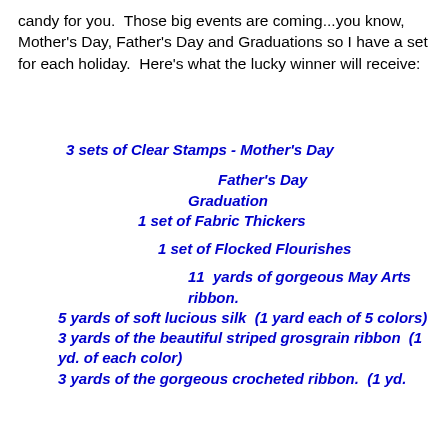candy for you.  Those big events are coming...you know, Mother's Day, Father's Day and Graduations so I have a set for each holiday.  Here's what the lucky winner will receive:
3 sets of Clear Stamps - Mother's Day
Father's Day
Graduation
1 set of Fabric Thickers
1 set of Flocked Flourishes
11  yards of gorgeous May Arts ribbon.
5 yards of soft lucious silk  (1 yard each of 5 colors)
3 yards of the beautiful striped grosgrain ribbon  (1 yd. of each color)
3 yards of the gorgeous crocheted ribbon.  (1 yd.